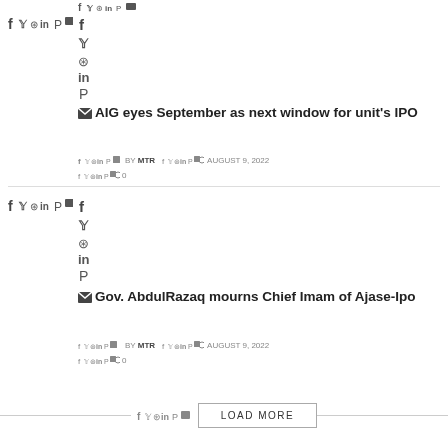[Figure (screenshot): Social share icons strip at top (Facebook, Twitter, WhatsApp, LinkedIn, Pinterest, Email)]
[Figure (screenshot): Left thumbnail social share icons (Facebook, Twitter, WhatsApp, LinkedIn, Pinterest, Email)]
AIG eyes September as next window for unit's IPO
BY MTR  AUGUST 9, 2022  0
[Figure (screenshot): Left thumbnail social share icons second article]
Gov. AbdulRazaq mourns Chief Imam of Ajase-Ipo
BY MTR  AUGUST 9, 2022  0
LOAD MORE